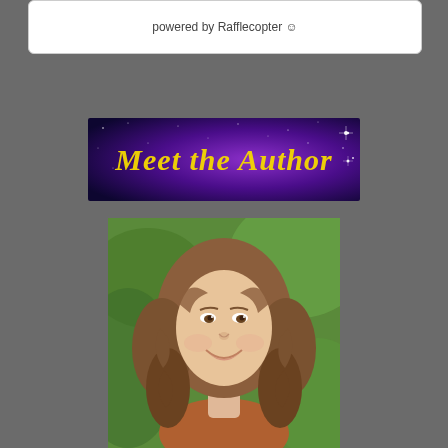powered by Rafflecopter
[Figure (illustration): Meet the Author banner with galaxy/space background and yellow cursive text reading 'Meet the Author' with stars]
[Figure (photo): Young woman with curly brown hair smiling, outdoor background with green foliage]